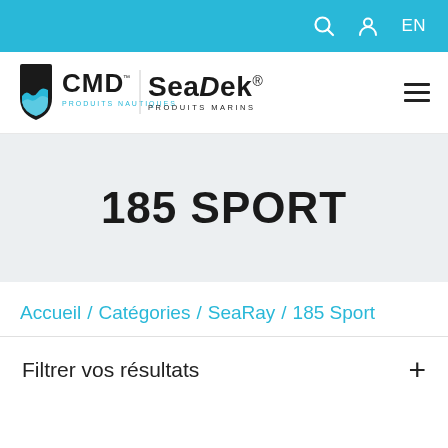EN
[Figure (logo): CMD SeaDek Produits Nautiques / Produits Marins logo with wave shield icon]
185 SPORT
Accueil / Catégories / SeaRay / 185 Sport
Filtrer vos résultats +